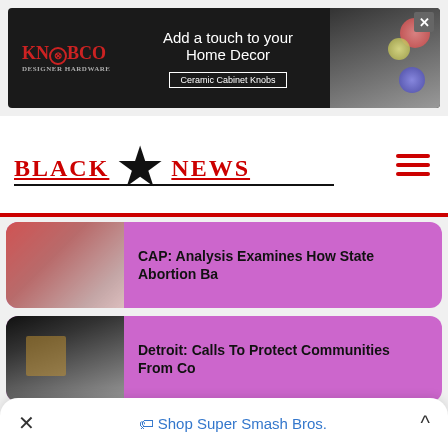[Figure (screenshot): Advertisement banner for KNOBCO hardware - Add a touch to your Home Decor, Ceramic Cabinet Knobs]
BLACK ★ NEWS
[Figure (photo): Thumbnail of protesters with signs for abortion rights article]
CAP: Analysis Examines How State Abortion Ba
[Figure (photo): Dark thumbnail of community/industrial scene for Detroit article]
Detroit: Calls To Protect Communities From Co
[Figure (photo): Thumbnail with text overlay: HOW ART COMBATING WAR UKRAINE?]
Dance of Sympathy: The Power of Art In A Chao
Shop Super Smash Bros.